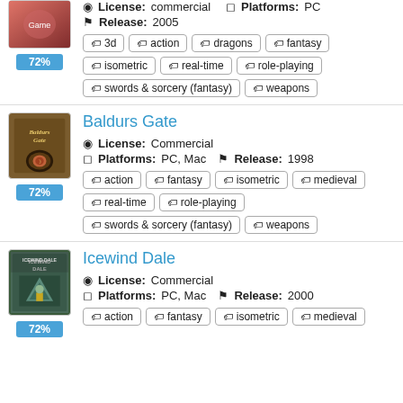[Figure (illustration): Game cover thumbnail (first game, partially visible), with 72% score bar]
License: commercial  Platforms: PC  Release: 2005
3d
action
dragons
fantasy
isometric
real-time
role-playing
swords & sorcery (fantasy)
weapons
[Figure (illustration): Baldurs Gate game cover thumbnail with 72% score bar]
Baldurs Gate
License: Commercial  Platforms: PC, Mac  Release: 1998
action
fantasy
isometric
medieval
real-time
role-playing
swords & sorcery (fantasy)
weapons
[Figure (illustration): Icewind Dale game cover thumbnail with 72% score bar]
Icewind Dale
License: Commercial  Platforms: PC, Mac  Release: 2000
action
fantasy
isometric
medieval